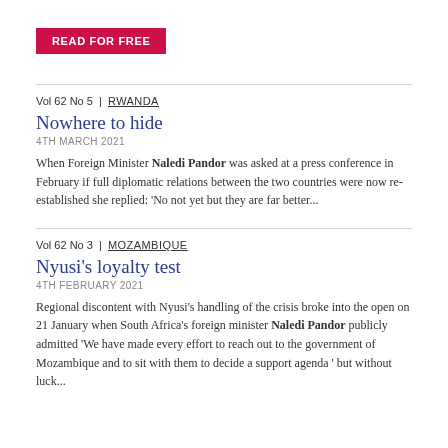READ FOR FREE
Vol 62 No 5 | RWANDA
Nowhere to hide
4TH MARCH 2021
When Foreign Minister Naledi Pandor was asked at a press conference in February if full diplomatic relations between the two countries were now re-established she replied: 'No not yet but they are far better...
Vol 62 No 3 | MOZAMBIQUE
Nyusi's loyalty test
4TH FEBRUARY 2021
Regional discontent with Nyusi's handling of the crisis broke into the open on 21 January when South Africa's foreign minister Naledi Pandor publicly admitted 'We have made every effort to reach out to the government of Mozambique and to sit with them to decide a support agenda ' but without luck...